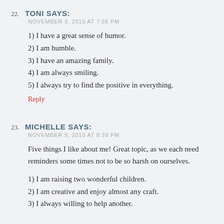22. TONI SAYS:
NOVEMBER 9, 2010 AT 7:56 PM
1) I have a great sense of humor.
2) I am humble.
3) I have an amazing family.
4) I am always smiling.
5) I always try to find the positive in everything.
Reply
23. MICHELLE SAYS:
NOVEMBER 9, 2010 AT 8:39 PM
Five things I like about me! Great topic, as we each need reminders some times not to be so harsh on ourselves.
1) I am raising two wonderful children.
2) I am creative and enjoy almost any craft.
3) I always willing to help another.